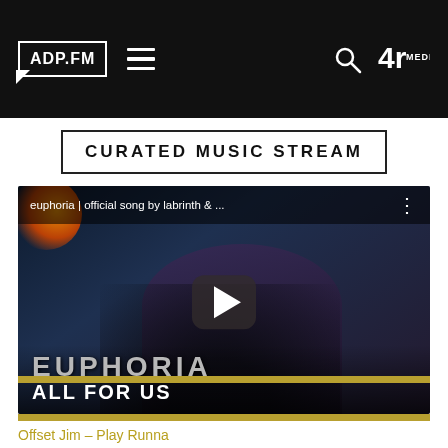[Figure (screenshot): ADP.FM website header with logo, hamburger menu, search icon, and YR Media logo on dark background]
CURATED MUSIC STREAM
[Figure (screenshot): YouTube video thumbnail for 'euphoria | official song by labrinth & ...' showing a woman looking up with 'EUPHORIA ALL FOR US' text overlay, play button visible]
Offset Jim – Play Runna